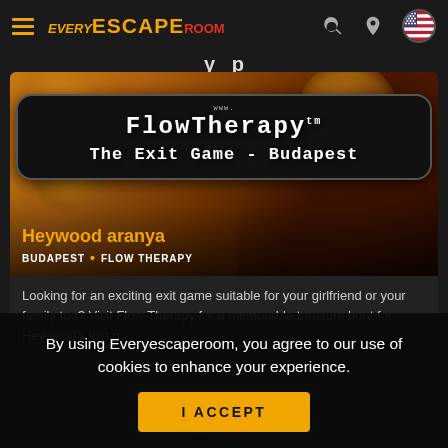Every Escape Room — navigation header with logo, search, location, and flag icons
[Figure (screenshot): FlowTherapy - The Exit Game Budapest promotional image with black sign on golden/brown bread background]
Heywood aranya
BUDAPEST • FLOW THERAPY
Looking for an exciting exit game suitable for your girlfriend or your family too? Visit Flow Therapy for a memorable treasure hunt for Heywood's lost g...
By using Everyescaperoom, you agree to our use of cookies to enhance your experience.